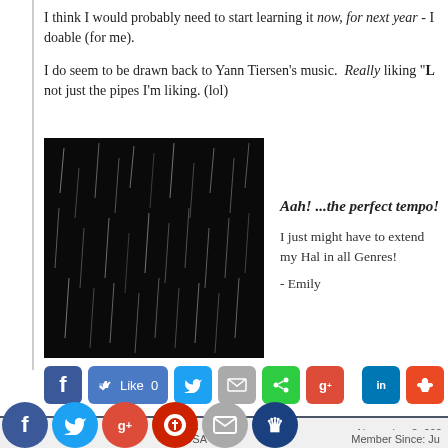I think I would probably need to start learning it now, for next year - I doable (for me).
I do seem to be drawn back to Yann Tiersen's music. Really liking "L not just the pipes I'm liking. (lol)
[Figure (photo): Dark black image with faint vertical rain-like streaks in white/grey]
Aah! ...the perfect tempo!
I just might have to extend my Hal in all Genres!
- Emily
[Figure (infographic): Social sharing buttons row: Facebook, Like 0, Twitter, Mail, Share, G+, LinkedIn, StumbleUpon]
ELCBK  USA  Member  November 3, 202  Member Since: Ju  For